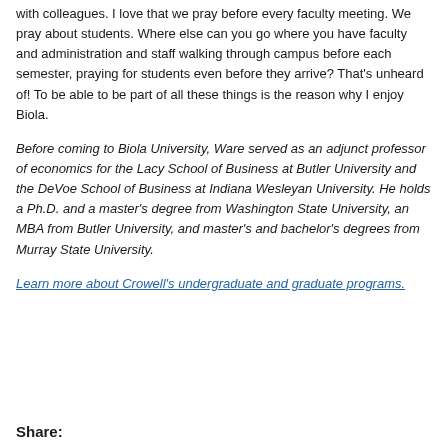with colleagues. I love that we pray before every faculty meeting. We pray about students. Where else can you go where you have faculty and administration and staff walking through campus before each semester, praying for students even before they arrive? That's unheard of! To be able to be part of all these things is the reason why I enjoy Biola.
Before coming to Biola University, Ware served as an adjunct professor of economics for the Lacy School of Business at Butler University and the DeVoe School of Business at Indiana Wesleyan University. He holds a Ph.D. and a master's degree from Washington State University, an MBA from Butler University, and master's and bachelor's degrees from Murray State University.
Learn more about Crowell's undergraduate and graduate programs.
Share: